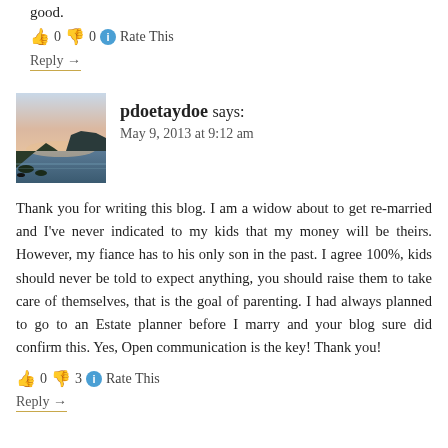good.
👍 0 👎 0 ℹ Rate This
Reply →
pdoetaydoe says:
May 9, 2013 at 9:12 am
[Figure (photo): Avatar image showing a coastal sunset scene with rocks and water]
Thank you for writing this blog. I am a widow about to get re-married and I've never indicated to my kids that my money will be theirs. However, my fiance has to his only son in the past. I agree 100%, kids should never be told to expect anything, you should raise them to take care of themselves, that is the goal of parenting. I had always planned to go to an Estate planner before I marry and your blog sure did confirm this. Yes, Open communication is the key! Thank you!
👍 0 👎 3 ℹ Rate This
Reply →